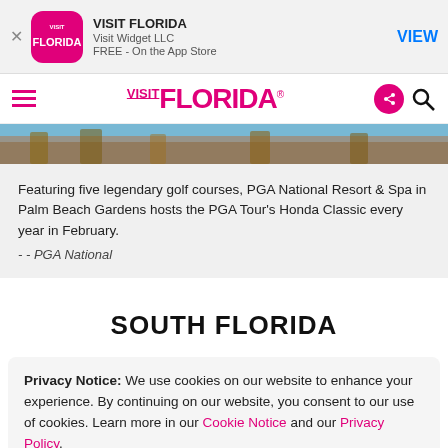[Figure (screenshot): App Store banner for VISIT FLORIDA app by Visit Widget LLC, FREE on the App Store, with VIEW button]
[Figure (logo): VISIT FLORIDA navigation bar with hamburger menu, logo, share and search icons]
[Figure (photo): Partial image of trees against blue sky]
Featuring five legendary golf courses, PGA National Resort & Spa in Palm Beach Gardens hosts the PGA Tour's Honda Classic every year in February.
- - PGA National
SOUTH FLORIDA
Privacy Notice: We use cookies on our website to enhance your experience. By continuing on our website, you consent to our use of cookies. Learn more in our Cookie Notice and our Privacy Policy.